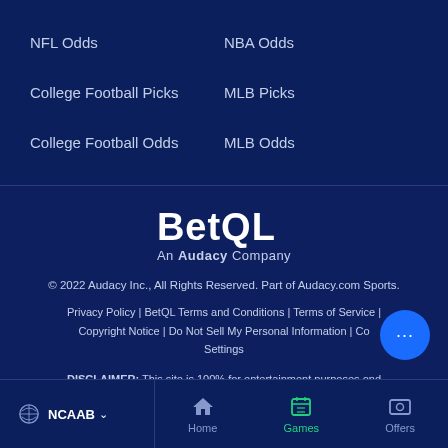NFL Odds
NBA Odds
College Football Picks
MLB Picks
College Football Odds
MLB Odds
[Figure (logo): BetQL - An Audacy Company logo in white text on dark blue background]
© 2022 Audacy Inc., All Rights Reserved. Part of Audacy.com Sports.
Privacy Policy | BetQL Terms and Conditions | Terms of Service | Copyright Notice | Do Not Sell My Personal Information | Cookie Settings
DISCLAIMER: This site is 100% for entertainment purposes only and does not involve real money betting or prizes.
NCAAB  Home  Games  Offers